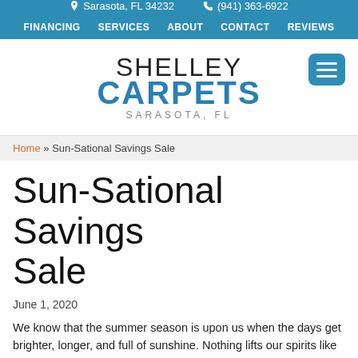Sarasota, FL 34232   (941) 363-6922
FINANCING  SERVICES  ABOUT  CONTACT  REVIEWS
[Figure (logo): Shelley Carpets Sarasota FL logo with hamburger menu icon]
Home » Sun-Sational Savings Sale
Sun-Sational Savings Sale
June 1, 2020
We know that the summer season is upon us when the days get brighter, longer, and full of sunshine. Nothing lifts our spirits like stepping outside to a beautiful, radiant afternoon full of warm energy and lush color. Now, it's time to shine some light